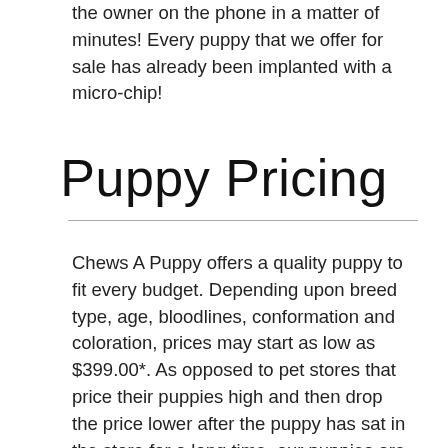the owner on the phone in a matter of minutes! Every puppy that we offer for sale has already been implanted with a micro-chip!
Puppy Pricing
Chews A Puppy offers a quality puppy to fit every budget. Depending upon breed type, age, bloodlines, conformation and coloration, prices may start as low as $399.00*. As opposed to pet stores that price their puppies high and then drop the price lower after the puppy has sat in the store for a long time, our puppies are priced individually according to quality, providing a wide range of prices. Our puppies stay with us for a very short period of time before going to their forever